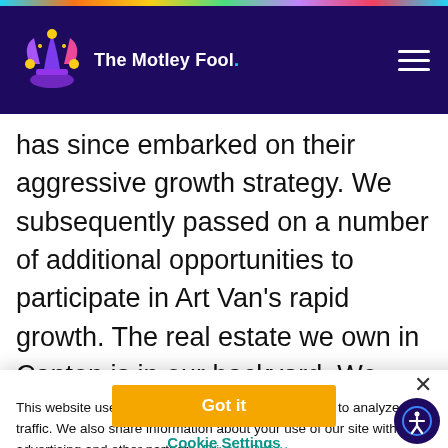The Motley Fool
has since embarked on their aggressive growth strategy. We subsequently passed on a number of additional opportunities to participate in Art Van's rapid growth. The real estate we own in Canton is in our backyard. We know it extremely well and we are very confident in its long term value and
This website uses cookies to deliver our services and to analyze traffic. We also share information about your use of our site with advertising and other partners. Privacy Policy
Got it
Cookie Settings